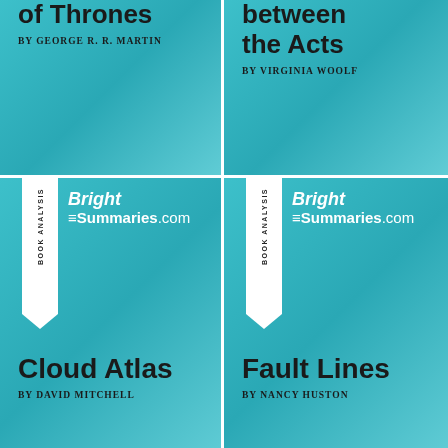[Figure (illustration): Partial top-left BrightSummaries book cover card for 'A Game of Thrones' by George R. R. Martin, teal gradient background, cropped at top]
[Figure (illustration): Partial top-right BrightSummaries book cover card for 'Between the Acts' by Virginia Woolf, teal gradient background, cropped at top]
[Figure (illustration): Full middle-left BrightSummaries book cover card for 'Cloud Atlas' by David Mitchell, with ribbon badge and logo]
[Figure (illustration): Full middle-right BrightSummaries book cover card for 'Fault Lines' by Nancy Huston, with ribbon badge and logo]
[Figure (illustration): Partial bottom-right BrightSummaries book cover card cropped showing ribbon and logo only]